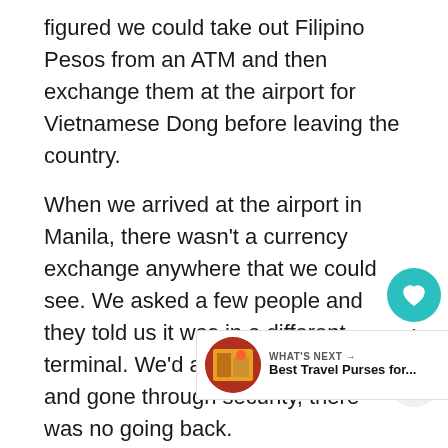figured we could take out Filipino Pesos from an ATM and then exchange them at the airport for Vietnamese Dong before leaving the country.
When we arrived at the airport in Manila, there wasn't a currency exchange anywhere that we could see. We asked a few people and they told us it was in a different terminal. We'd already checked in and gone through security, there was no going back.
When we arrived in Ho Chi Minh, w... they accepted Filipino Pesos. Thankfully they did.